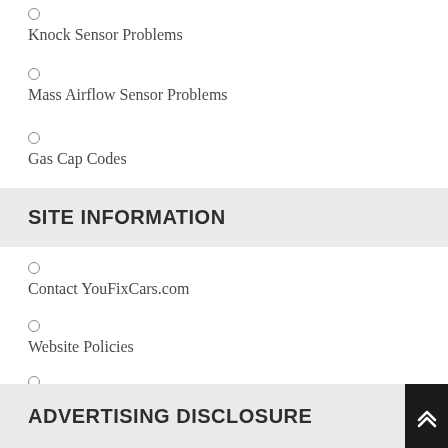Knock Sensor Problems
Mass Airflow Sensor Problems
Gas Cap Codes
SITE INFORMATION
Contact YouFixCars.com
Website Policies
Disclosure Policy
ADVERTISING DISCLOSURE